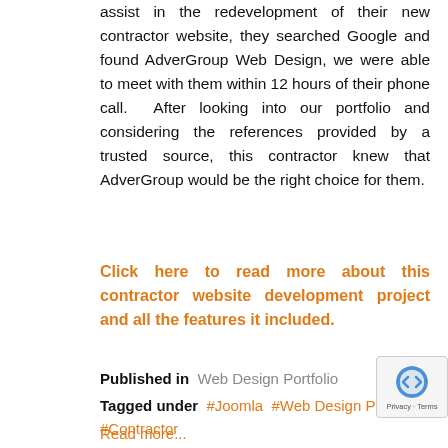assist in the redevelopment of their new contractor website, they searched Google and found AdverGroup Web Design, we were able to meet with them within 12 hours of their phone call. After looking into our portfolio and considering the references provided by a trusted source, this contractor knew that AdverGroup would be the right choice for them.
Click here to read more about this contractor website development project and all the features it included.
Published in  Web Design Portfolio
Tagged under  #Joomla  #Web Design Portfolio  #Contractor
Read more...